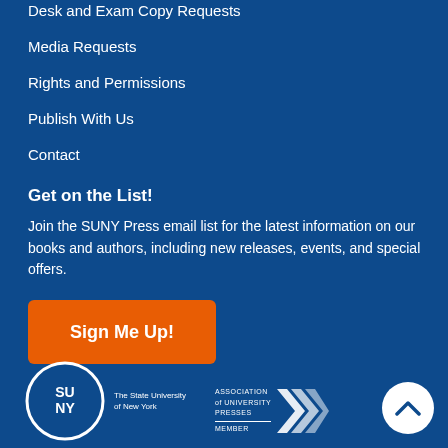Desk and Exam Copy Requests
Media Requests
Rights and Permissions
Publish With Us
Contact
Get on the List!
Join the SUNY Press email list for the latest information on our books and authors, including new releases, events, and special offers.
[Figure (other): Orange button with white bold text reading 'Sign Me Up!']
[Figure (logo): SUNY (The State University of New York) circular logo in white, and Association of University Presses Member logo with arrow graphic]
[Figure (other): White circular scroll-to-top button with upward chevron arrow]